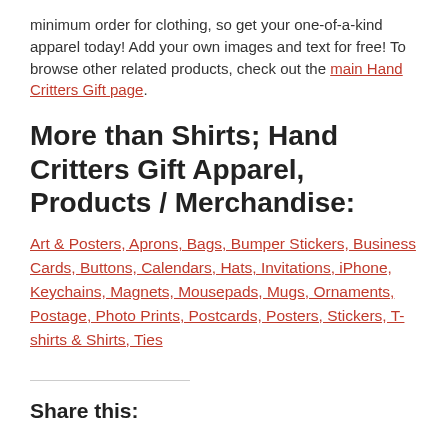minimum order for clothing, so get your one-of-a-kind apparel today! Add your own images and text for free! To browse other related products, check out the main Hand Critters Gift page.
More than Shirts; Hand Critters Gift Apparel, Products / Merchandise:
Art & Posters, Aprons, Bags, Bumper Stickers, Business Cards, Buttons, Calendars, Hats, Invitations, iPhone, Keychains, Magnets, Mousepads, Mugs, Ornaments, Postage, Photo Prints, Postcards, Posters, Stickers, T-shirts & Shirts, Ties
Share this: